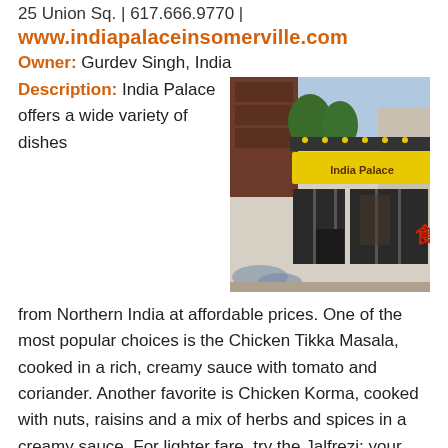25 Union Sq. | 617.666.9770 |
www.indiapalaceinsomerville.com
Owner: Gurdev Singh, India
[Figure (photo): Exterior storefront photo of India Palace restaurant showing yellow sign with 'India Palace' text, large windows, and outdoor seating area.]
Description: India Palace offers a wide variety of dishes from Northern India at affordable prices. One of the most popular choices is the Chicken Tikka Masala, cooked in a rich, creamy sauce with tomato and coriander. Another favorite is Chicken Korma, cooked with nuts, raisins and a mix of herbs and spices in a creamy sauce. For lighter fare, try the Jalfrezi: your choice of chicken,